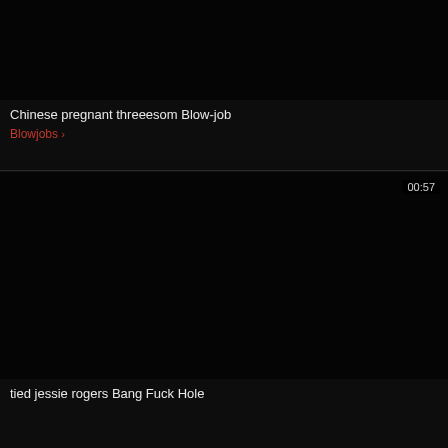[Figure (screenshot): Dark/black video thumbnail for first video card]
Chinese pregnant threeesom Blow-job
Blowjobs >
[Figure (screenshot): Dark/black video thumbnail for second video card with duration badge 00:57]
tied jessie rogers Bang Fuck Hole